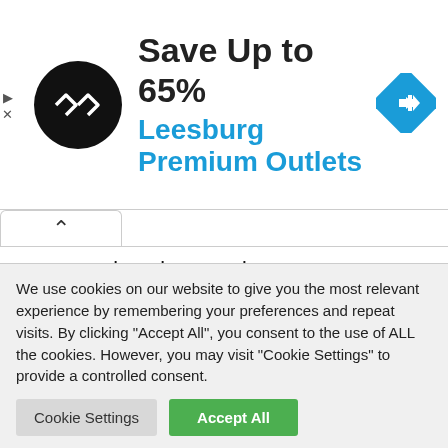[Figure (infographic): Advertisement banner: Black circular logo with double arrow icon, text 'Save Up to 65%' in bold black, 'Leesburg Premium Outlets' in blue, blue diamond navigation arrow icon on right. Small play and X controls on the far left.]
Famous Nigerian artist Oluwatobiloba Daniel, better known by his stage name Kizz Daniel has released the video of his hit track, Buga, which features popular singer and music producer, Tekno.
The popular song “Buga” featuring Tekno has taken
We use cookies on our website to give you the most relevant experience by remembering your preferences and repeat visits. By clicking "Accept All", you consent to the use of ALL the cookies. However, you may visit "Cookie Settings" to provide a controlled consent.